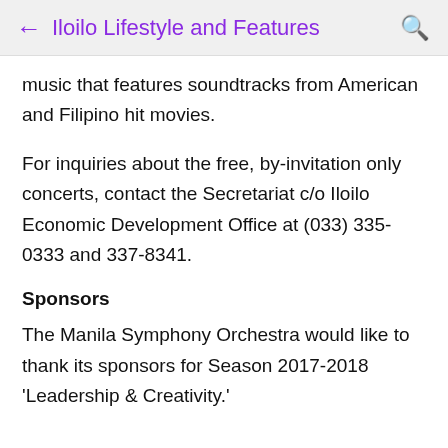Iloilo Lifestyle and Features
music that features soundtracks from American and Filipino hit movies.
For inquiries about the free, by-invitation only concerts, contact the Secretariat c/o Iloilo Economic Development Office at (033) 335-0333 and 337-8341.
Sponsors
The Manila Symphony Orchestra would like to thank its sponsors for Season 2017-2018 'Leadership & Creativity.'